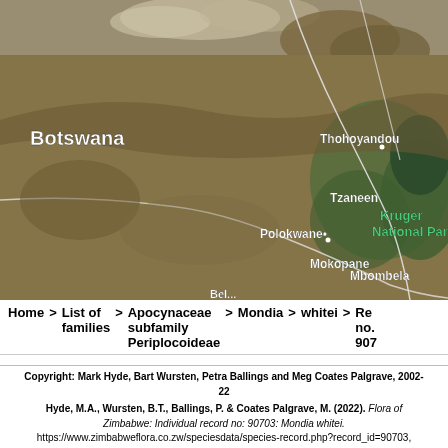[Figure (map): Satellite map showing southern Africa region including Botswana, Gaborone, Thohoyandou, Tzaneen, Polokwane, Mokopane, Mbombela, and Kruger National Park labels overlaid on aerial imagery]
Home > List of families > Apocynaceae subfamily Periplocoideae > Mondia > whitei > Re... no... 907...
Copyright: Mark Hyde, Bart Wursten, Petra Ballings and Meg Coates Palgrave, 2002-22
Hyde, M.A., Wursten, B.T., Ballings, P. & Coates Palgrave, M. (2022). Flora of Zimbabwe: Individual record no: 90703: Mondia whitei. https://www.zimbabweflora.co.zw/speciesdata/species-record.php?record_id=90703, retrieved 3 September 2022
Site software last modified: 18 August 2018 1:29pm (GMT +2)
Terms of use